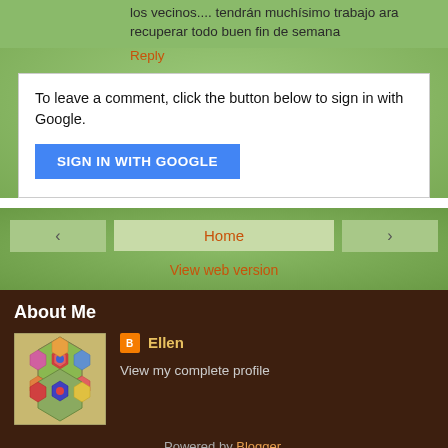los vecinos.... tendrán muchísimo trabajo ara recuperar todo buen fin de semana
Reply
To leave a comment, click the button below to sign in with Google.
SIGN IN WITH GOOGLE
Home
About Me
[Figure (photo): Profile photo showing a colorful hexagon quilt pattern with flower designs in blue, red, pink, yellow on a green/tan background]
Ellen
View my complete profile
Powered by Blogger.